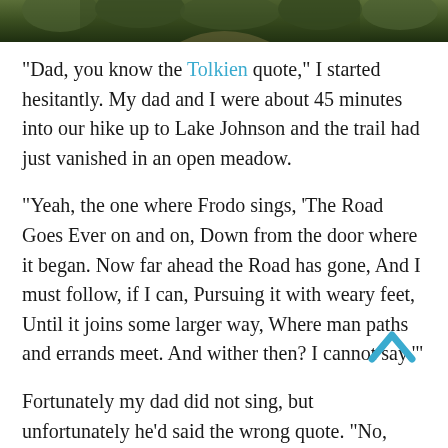[Figure (photo): Partial photo of a forested trail, showing green trees and foliage at the top of the page]
“Dad, you know the Tolkien quote,” I started hesitantly.  My dad and I were about 45 minutes into our hike up to Lake Johnson and the trail had just vanished in an open meadow.
“Yeah, the one where Frodo sings, ‘The Road Goes Ever on and on, Down from the door where it began.  Now far ahead the Road has gone, And I must follow, if I can, Pursuing it with weary feet, Until it joins some larger way, Where man paths and errands meet.  And wither then?  I cannot say.’”
Fortunately my dad did not sing, but unfortunately he’d said the wrong quote.  “No,